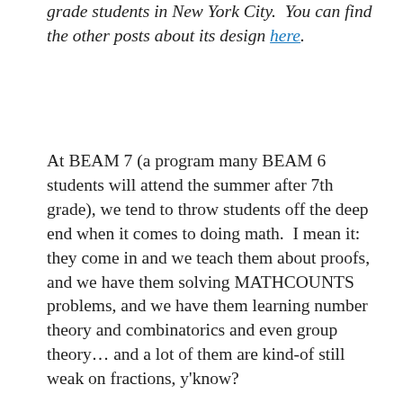grade students in New York City.  You can find the other posts about its design here.
At BEAM 7 (a program many BEAM 6 students will attend the summer after 7th grade), we tend to throw students off the deep end when it comes to doing math.  I mean it: they come in and we teach them about proofs, and we have them solving MATHCOUNTS problems, and we have them learning number theory and combinatorics and even group theory… and a lot of them are kind-of still weak on fractions, y'know?